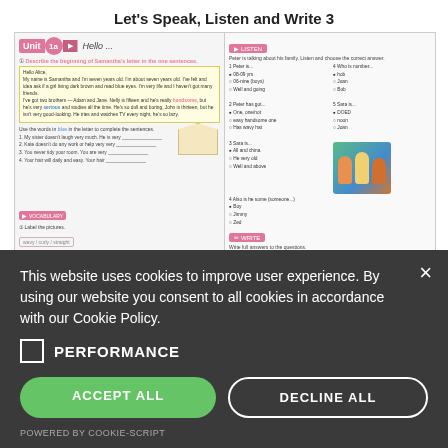Let's Speak, Listen and Write 3
[Figure (screenshot): Textbook page preview showing Unit 1a 'Hello...' with sections for speaking, listening activities, yellow letter box, hair-labeling exercise, listening exercise with answer choices, write section with fill-in lines, and a photo of three children.]
This website uses cookies to improve user experience. By using our website you consent to all cookies in accordance with our Cookie Policy.
PERFORMANCE
ACCEPT ALL
DECLINE ALL
POWERED BY COOKIE-SCRIPT